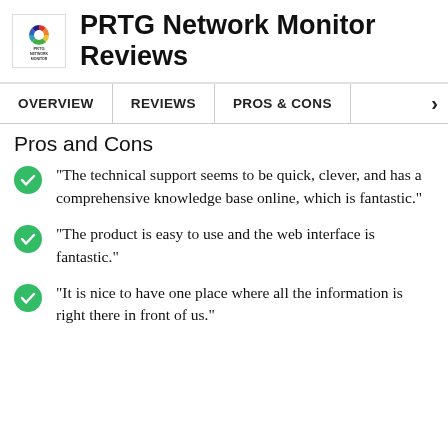[Figure (logo): PRTG Network Monitor logo — small colorful circular icon with company name text]
PRTG Network Monitor Reviews
OVERVIEW | REVIEWS | PROS & CONS | >
Pros and Cons
"The technical support seems to be quick, clever, and has a comprehensive knowledge base online, which is fantastic."
"The product is easy to use and the web interface is fantastic."
"It is nice to have one place where all the information is right there in front of us."